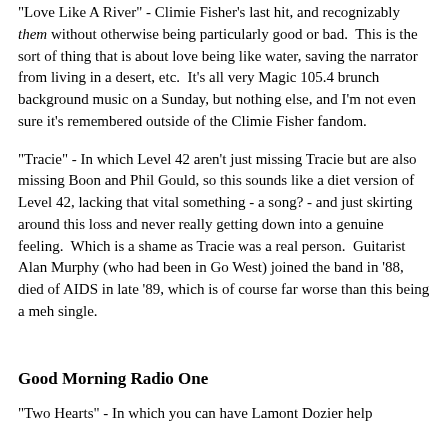"Love Like A River" - Climie Fisher's last hit, and recognizably them without otherwise being particularly good or bad.  This is the sort of thing that is about love being like water, saving the narrator from living in a desert, etc.  It's all very Magic 105.4 brunch background music on a Sunday, but nothing else, and I'm not even sure it's remembered outside of the Climie Fisher fandom.
"Tracie" - In which Level 42 aren't just missing Tracie but are also missing Boon and Phil Gould, so this sounds like a diet version of Level 42, lacking that vital something - a song? - and just skirting around this loss and never really getting down into a genuine feeling.  Which is a shame as Tracie was a real person.  Guitarist Alan Murphy (who had been in Go West) joined the band in '88, died of AIDS in late '89, which is of course far worse than this being a meh single.
Good Morning Radio One
"Two Hearts" - In which you can have Lamont Dozier help